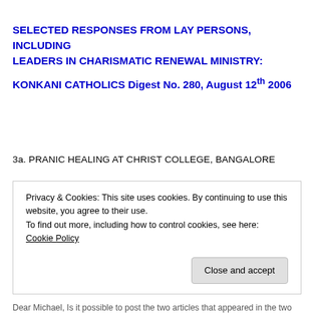SELECTED RESPONSES FROM LAY PERSONS, INCLUDING LEADERS IN CHARISMATIC RENEWAL MINISTRY:
KONKANI CATHOLICS Digest No. 280, August 12th 2006
3a. PRANIC HEALING AT CHRIST COLLEGE, BANGALORE
Privacy & Cookies: This site uses cookies. By continuing to use this website, you agree to their use.
To find out more, including how to control cookies, see here: Cookie Policy
Close and accept
Dear Michael, Is it possible to post the two articles that appeared in the two